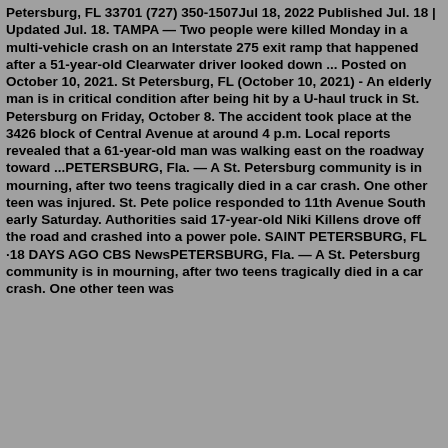Petersburg, FL 33701 (727) 350-1507Jul 18, 2022 Published Jul. 18 | Updated Jul. 18. TAMPA — Two people were killed Monday in a multi-vehicle crash on an Interstate 275 exit ramp that happened after a 51-year-old Clearwater driver looked down ... Posted on October 10, 2021. St Petersburg, FL (October 10, 2021) - An elderly man is in critical condition after being hit by a U-haul truck in St. Petersburg on Friday, October 8. The accident took place at the 3426 block of Central Avenue at around 4 p.m. Local reports revealed that a 61-year-old man was walking east on the roadway toward ...PETERSBURG, Fla. — A St. Petersburg community is in mourning, after two teens tragically died in a car crash. One other teen was injured. St. Pete police responded to 11th Avenue South early Saturday. Authorities said 17-year-old Niki Killens drove off the road and crashed into a power pole. SAINT PETERSBURG, FL ·18 DAYS AGO CBS NewsPETERSBURG, Fla. — A St. Petersburg community is in mourning, after two teens tragically died in a car crash. One other teen was